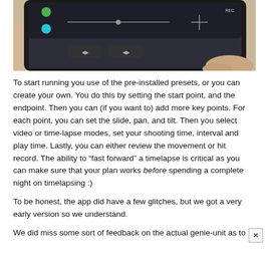[Figure (photo): A hand holding a smartphone showing a camera app interface with slider controls, crosshair, and video mode indicators on a dark screen.]
To start running you use of the pre-installed presets, or you can create your own. You do this by setting the start point, and the endpoint. Then you can (if you want to) add more key points. For each point, you can set the slide, pan, and tilt. Then you select video or time-lapse modes, set your shooting time, interval and play time. Lastly, you can either review the movement or hit record. The ability to “fast forward” a timelapse is critical as you can make sure that your plan works before spending a complete night on timelapsing :)
To be honest, the app did have a few glitches, but we got a very early version so we understand.
We did miss some sort of feedback on the actual genie-unit as to